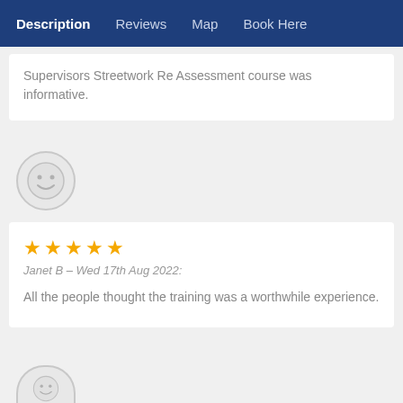Description | Reviews | Map | Book Here
Supervisors Streetwork Re Assessment course was informative.
[Figure (illustration): Generic smiley face avatar icon, grey circle with smile and eyes]
★★★★★
Janet B – Wed 17th Aug 2022:
All the people thought the training was a worthwhile experience.
[Figure (illustration): Generic smiley face avatar icon, grey circle partially visible at bottom]